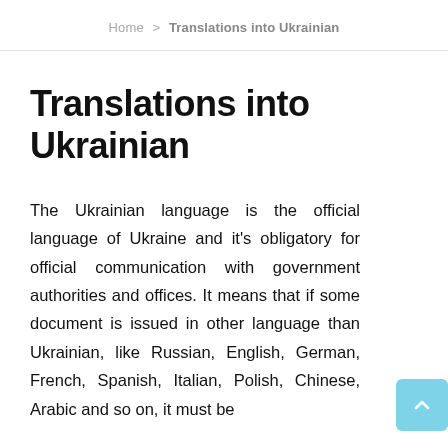Home > Translations into Ukrainian
Translations into Ukrainian
The Ukrainian language is the official language of Ukraine and it's obligatory for official communication with government authorities and offices. It means that if some document is issued in other language than Ukrainian, like Russian, English, German, French, Spanish, Italian, Polish, Chinese, Arabic and so on, it must be